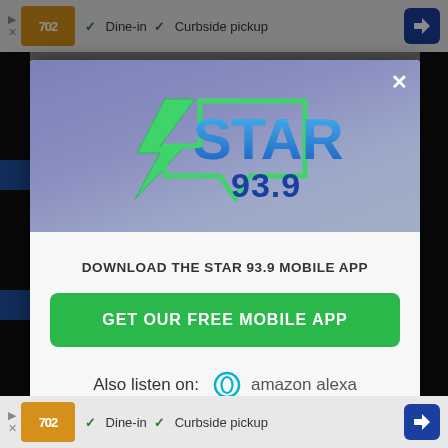[Figure (screenshot): Screenshot of a website popup modal for Star 93.9 radio station mobile app download, showing the station logo on a purple background, a green 'GET OUR FREE MOBILE APP' button, and 'Also listen on: amazon alexa' text. Background shows dimmed website content and an advertisement banner at top and bottom.]
DOWNLOAD THE STAR 93.9 MOBILE APP
GET OUR FREE MOBILE APP
Also listen on: amazon alexa